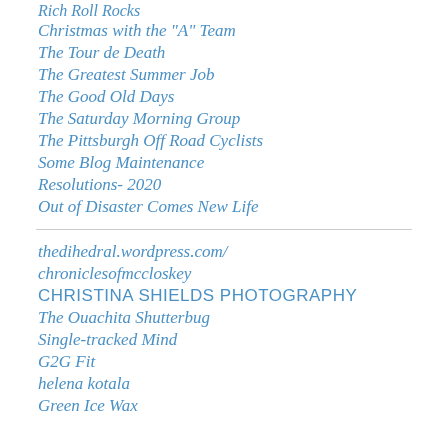Rich Roll Rocks
Christmas with the "A" Team
The Tour de Death
The Greatest Summer Job
The Good Old Days
The Saturday Morning Group
The Pittsburgh Off Road Cyclists
Some Blog Maintenance
Resolutions- 2020
Out of Disaster Comes New Life
thedihedral.wordpress.com/
chroniclesofmccloskey
CHRISTINA SHIELDS PHOTOGRAPHY
The Ouachita Shutterbug
Single-tracked Mind
G2G Fit
helena kotala
Green Ice Wax